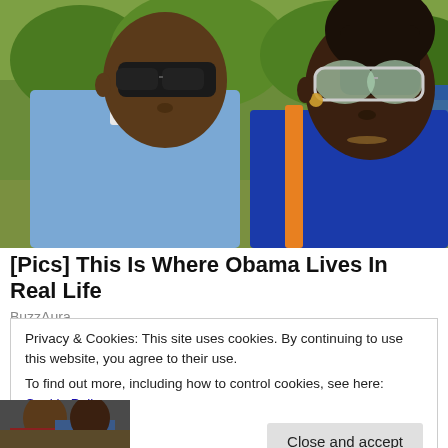[Figure (photo): Two people wearing sunglasses outdoors with green trees in background. Man on left in blue checked shirt, woman on right in blue top.]
[Pics] This Is Where Obama Lives In Real Life
BuzzAura
Privacy & Cookies: This site uses cookies. By continuing to use this website, you agree to their use.
To find out more, including how to control cookies, see here: Cookie Policy
Close and accept
[Figure (photo): Small thumbnail image at bottom left, partially visible.]